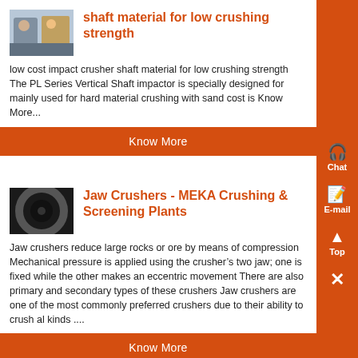[Figure (photo): Thumbnail photo of workers/machinery]
shaft material for low crushing strength
low cost impact crusher shaft material for low crushing strength The PL Series Vertical Shaft impactor is specially designed for mainly used for hard material crushing with sand cost is Know More...
Know More
[Figure (photo): Thumbnail photo of jaw crusher / pipe cross-section]
Jaw Crushers - MEKA Crushing & Screening Plants
Jaw crushers reduce large rocks or ore by means of compression Mechanical pressure is applied using the crusher’s two jaw; one is fixed while the other makes an eccentric movement There are also primary and secondary types of these crushers Jaw crushers are one of the most commonly preferred crushers due to their ability to crush all kinds ....
Know More
[Figure (photo): Thumbnail photo of crusher machinery]
low noise crusher crushing -